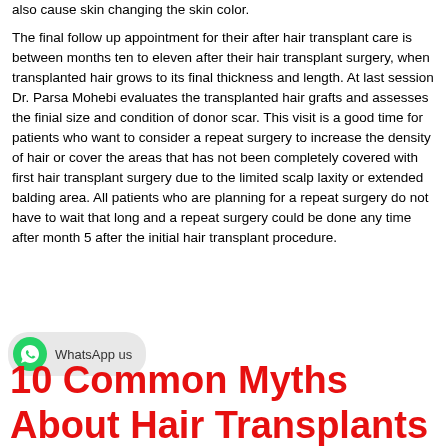also cause skin changing the skin color.
The final follow up appointment for their after hair transplant care is between months ten to eleven after their hair transplant surgery, when transplanted hair grows to its final thickness and length. At last session Dr. Parsa Mohebi evaluates the transplanted hair grafts and assesses the finial size and condition of donor scar. This visit is a good time for patients who want to consider a repeat surgery to increase the density of hair or cover the areas that has not been completely covered with first hair transplant surgery due to the limited scalp laxity or extended balding area. All patients who are planning for a repeat surgery do not have to wait that long and a repeat surgery could be done any time after month 5 after the initial hair transplant procedure.
[Figure (other): WhatsApp us button with green WhatsApp logo icon and rounded gray background]
10 Common Myths About Hair Transplants